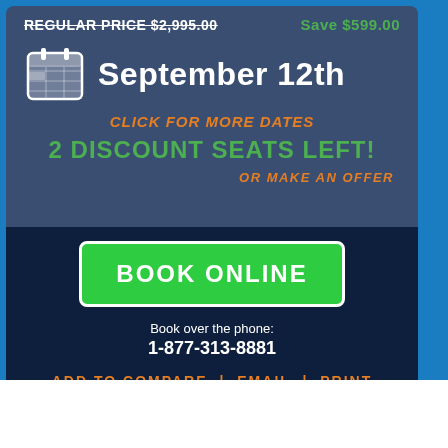REGULAR PRICE $2,995.00
Save $599.00
September 12th
CLICK FOR MORE DATES
2 DISCOUNT SEATS LEFT!
OR MAKE AN OFFER
BOOK ONLINE
Book over the phone:
1-877-313-8881
ADD TO COMPARE  |  EMAIL  |  PRINT